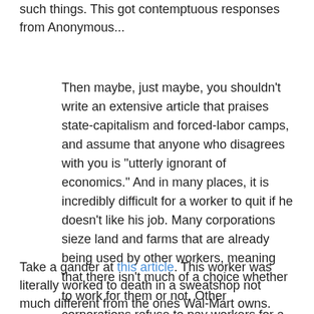such things. This got contemptuous responses from Anonymous...
Then maybe, just maybe, you shouldn't write an extensive article that praises state-capitalism and forced-labor camps, and assume that anyone who disagrees with you is "utterly ignorant of economics." And in many places, it is incredibly difficult for a worker to quit if he doesn't like his job. Many corporations sieze land and farms that are already being used by other workers, meaning that there isn't much of a choice whether to work for them or not. Other corporations refuse to pay workers for a very long time, so that they can't quit (or they get none of the pitiful amounts of money they earn)....
Take a gander at this article. This worker was literally worked to death in a sweatshop not much different from the ones Wal-Mart owns. This